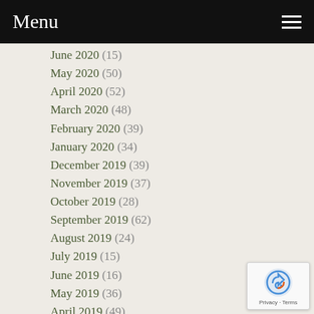Menu
June 2020 (15)
May 2020 (50)
April 2020 (52)
March 2020 (48)
February 2020 (39)
January 2020 (34)
December 2019 (39)
November 2019 (37)
October 2019 (28)
September 2019 (62)
August 2019 (24)
July 2019 (15)
June 2019 (16)
May 2019 (36)
April 2019 (49)
March 2019 (47)
February 2019 (20)
January 2019 (18)
[Figure (logo): reCAPTCHA badge with Privacy and Terms links]